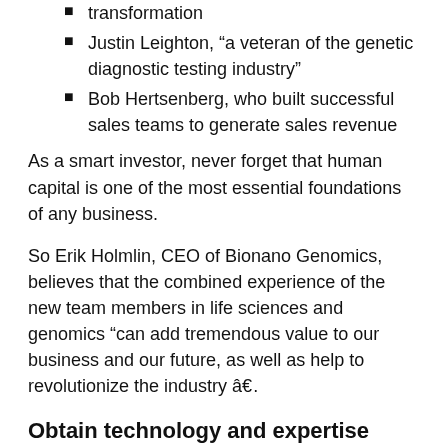transformation
Justin Leighton, “a veteran of the genetic diagnostic testing industry”
Bob Hertsenberg, who built successful sales teams to generate sales revenue
As a smart investor, never forget that human capital is one of the most essential foundations of any business.
So Erik Holmlin, CEO of Bionano Genomics, believes that the combined experience of the new team members in life sciences and genomics “can add tremendous value to our business and our future, as well as help to revolutionize the industry â€¦.
Obtain technology and expertise
At the same time, Bionano is also pushing the boundaries in terms of scientific discovery and advancements in optical genome mapping.